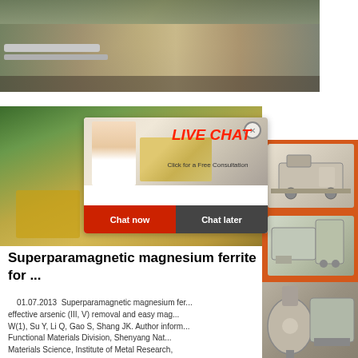[Figure (photo): Mining site with industrial machinery, conveyor pipes, and rock quarry in background]
[Figure (photo): Sand/gravel construction site with yellow machinery]
[Figure (infographic): Live chat popup overlay with woman in hardhat, workers in background, red LIVE CHAT text, Click for a Free Consultation, Chat now and Chat later buttons]
[Figure (photo): Right sidebar with orange background showing industrial crushing/grinding machines and discount promotion]
Superparamagnetic magnesium ferrite for ...
01.07.2013  Superparamagnetic magnesium ferrite ... effective arsenic (III, V) removal and easy magnetic ... W(1), Su Y, Li Q, Gao S, Shang JK. Author information ... Functional Materials Division, Shenyang National ... Materials Science, Institute of Metal Research,